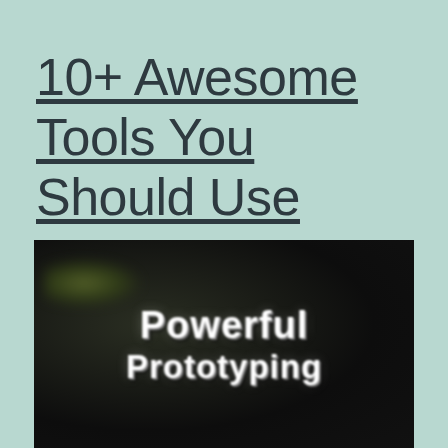10+ Awesome Tools You Should Use
[Figure (photo): Dark blurred image with white bold text reading 'Powerful Prototyping', set against a dark background with a faint greenish element in the upper left corner.]